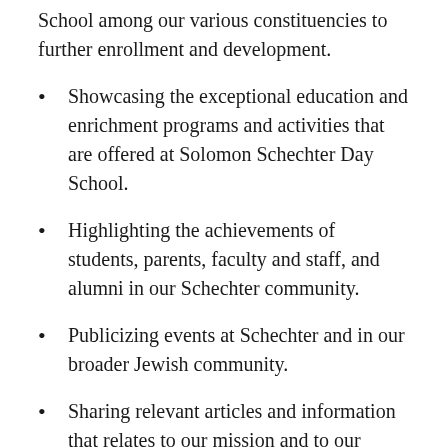School among our various constituencies to further enrollment and development.
Showcasing the exceptional education and enrichment programs and activities that are offered at Solomon Schechter Day School.
Highlighting the achievements of students, parents, faculty and staff, and alumni in our Schechter community.
Publicizing events at Schechter and in our broader Jewish community.
Sharing relevant articles and information that relates to our mission and to our community.